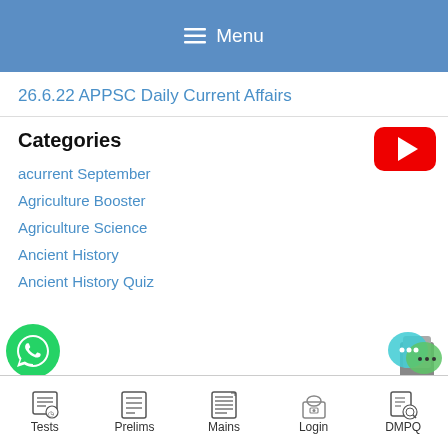Menu
26.6.22 APPSC Daily Current Affairs
Categories
acurrent September
Agriculture Booster
Agriculture Science
Ancient History
Ancient History Quiz
Tests  Prelims  Mains  Login  DMPQ